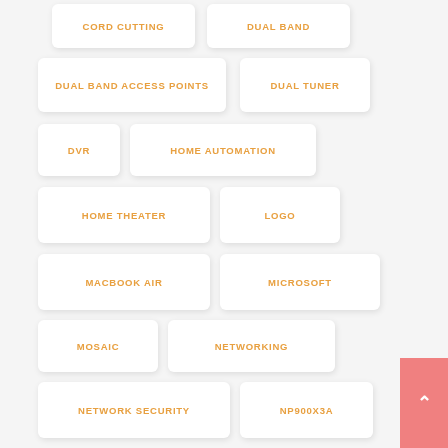CORD CUTTING
DUAL BAND
DUAL BAND ACCESS POINTS
DUAL TUNER
DVR
HOME AUTOMATION
HOME THEATER
LOGO
MACBOOK AIR
MICROSOFT
MOSAIC
NETWORKING
NETWORK SECURITY
NP900X3A